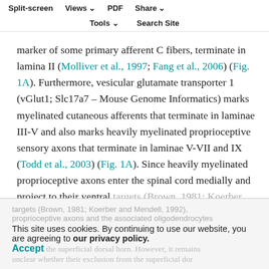Split-screen | Views | PDF | Share | Tools | Search Site
marker of some primary afferent C fibers, terminate in lamina II (Molliver et al., 1997; Fang et al., 2006) (Fig. 1A). Furthermore, vesicular glutamate transporter 1 (vGlut1; Slc17a7 – Mouse Genome Informatics) marks myelinated cutaneous afferents that terminate in laminae III-V and also marks heavily myelinated proprioceptive sensory axons that terminate in laminae V-VII and IX (Todd et al., 2003) (Fig. 1A). Since heavily myelinated proprioceptive axons enter the spinal cord medially and project to their ventral targets (Brown, 1981; Koerber and Mendell, 1992), proprioceptive axons and the associated oligodendrocytes avoid the superficial dorsal horn. However, it remains unclear whether their exclusion from the superficial dorsal horn in the spinal cord (Lawson, 2002) (Fig. 1A); whereas non-myelinated cutaneous axons positive for isolectin IB4, a
This site uses cookies. By continuing to use our website, you are agreeing to our privacy policy.
Accept